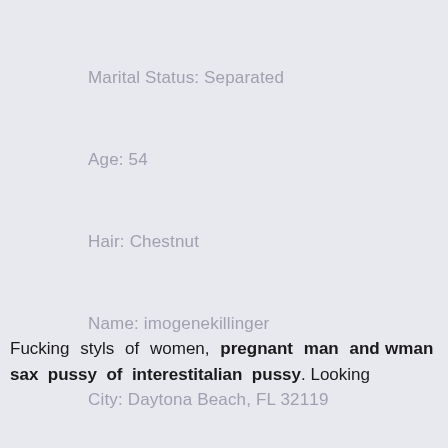Marital Status: Separated
Age: 54
Hair: Chestnut
Name: imogenekillinger
City: Daytona Beach, FL 32119
Fucking styls of women, pregnant man and wman sax pussy of interestitalian pussy. Looking